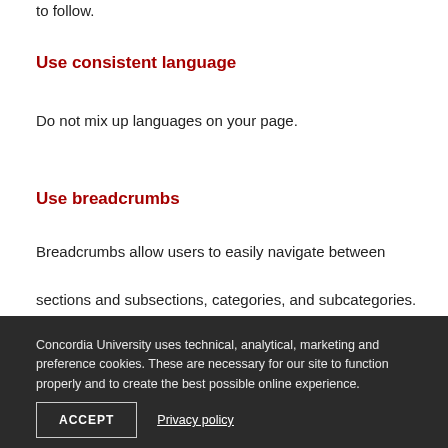to follow.
Use consistent language
Do not mix up languages on your page.
Use breadcrumbs
Breadcrumbs allow users to easily navigate between sections and subsections, categories, and subcategories.
Concordia University uses technical, analytical, marketing and preference cookies. These are necessary for our site to function properly and to create the best possible online experience.
ACCEPT
Privacy policy